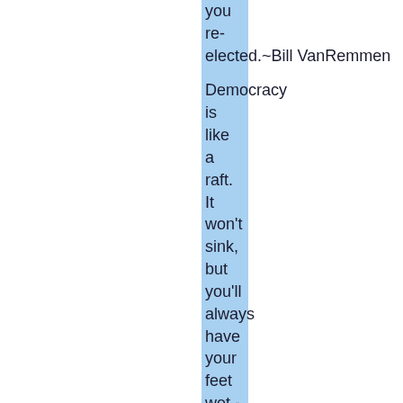you re-elected.~Bill VanRemmen
Democracy is like a raft. It won't sink, but you'll always have your feet wet.- Russell Long
Ninety-eight percent of the